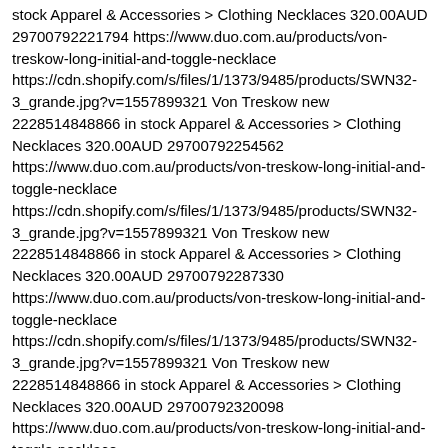stock Apparel & Accessories > Clothing Necklaces 320.00AUD 29700792221794 https://www.duo.com.au/products/von-treskow-long-initial-and-toggle-necklace https://cdn.shopify.com/s/files/1/1373/9485/products/SWN32-3_grande.jpg?v=1557899321 Von Treskow new 2228514848866 in stock Apparel & Accessories > Clothing Necklaces 320.00AUD 29700792254562 https://www.duo.com.au/products/von-treskow-long-initial-and-toggle-necklace https://cdn.shopify.com/s/files/1/1373/9485/products/SWN32-3_grande.jpg?v=1557899321 Von Treskow new 2228514848866 in stock Apparel & Accessories > Clothing Necklaces 320.00AUD 29700792287330 https://www.duo.com.au/products/von-treskow-long-initial-and-toggle-necklace https://cdn.shopify.com/s/files/1/1373/9485/products/SWN32-3_grande.jpg?v=1557899321 Von Treskow new 2228514848866 in stock Apparel & Accessories > Clothing Necklaces 320.00AUD 29700792320098 https://www.duo.com.au/products/von-treskow-long-initial-and-toggle-necklace https://cdn.shopify.com/s/files/1/1373/9485/products/SWN32-3_grande.jpg?v=1557899321 Von Treskow new 2228514848866 in stock Apparel & Accessories > Clothing Necklaces 320.00AUD 29700792352866 https://www.duo.com.au/products/von-treskow-long-initial-and-toggle-necklace https://cdn.shopify.com/s/files/1/1373/9485/products/SWN32-3_grande.jpg?v=1557899321 Von Treskow new 2228514848866 in